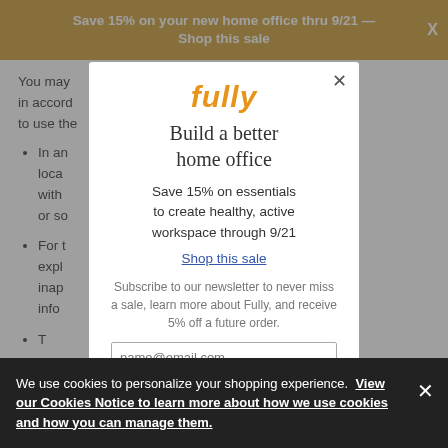Save 15% on your new home office thru 9/21 —
You may ... ses and in accord ... ree not to use the ...
In an ... , state, local ... ding, with ... ort of data or so ... ries).
For t ... mpting to expl ... g them to inap ... entifiable info ...
[Figure (screenshot): Modal popup from Fully furniture website with orange 'fully' logo, headline 'Build a better home office', offer text 'Save 15% on essentials to create healthy, active workspace through 9/21', 'Shop this sale' link, newsletter subscription text, and email input field with placeholder 'name@email.com'. Has a close X button in top right.]
We use cookies to personalize your shopping experience. View our Cookies Notice to learn more about how we use cookies and how you can manage them.